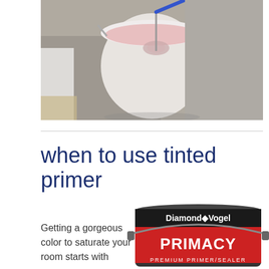[Figure (photo): Top-down view of a bucket of pink tinted primer being mixed with a blue-handled electric mixer on a concrete floor with drop cloth]
when to use tinted primer
Getting a gorgeous color to saturate your room starts with
[Figure (photo): Diamond Vogel PRIMACY Premium Primer/Sealer paint can with red label and black lid]